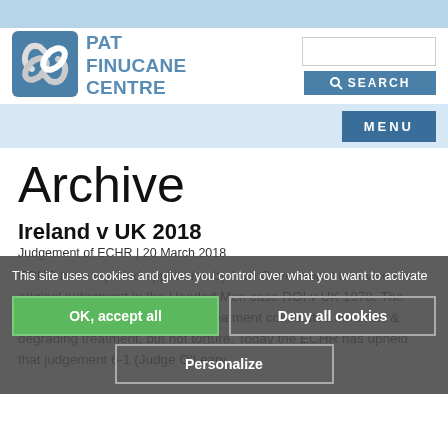PAT FINUCANE CENTRE
Archive
Ireland v UK 2018
Judgement of ECHR | 20 March 2018
ECHR have rejected application by Irish Government to revise the original judgement in the Hooded Men case ROI v UK 1978. The 1978 judgement found that the treatment constituted inhuman & degrading treatment, but not torture. Today the ECHR has upheld that judgement 6-1 (Judge O'Leary
This site uses cookies and gives you control over what you want to activate
OK, accept all
Deny all cookies
Personalize